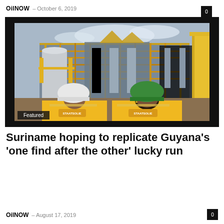OilNOW – October 6, 2019
[Figure (photo): Two workers in yellow Staatsolie jackets and hard hats (one white, one green) viewed from behind, looking at industrial oil/gas processing facility with yellow scaffolding and a crane in the background. Featured badge in bottom-left corner.]
Featured
Suriname hoping to replicate Guyana's 'one find after the other' lucky run
OilNOW – August 17, 2019